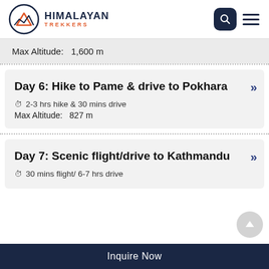HIMALAYAN TREKKERS
Max Altitude:   1,600 m
Day 6: Hike to Pame & drive to Pokhara
2-3 hrs hike & 30 mins drive
Max Altitude:   827 m
Day 7: Scenic flight/drive to Kathmandu
30 mins flight/ 6-7 hrs drive
Inquire Now